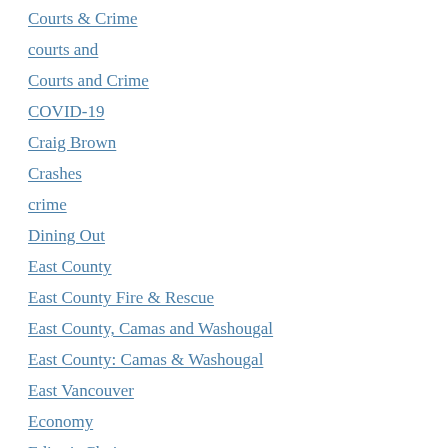Courts & Crime
courts and
Courts and Crime
COVID-19
Craig Brown
Crashes
crime
Dining Out
East County
East County Fire & Rescue
East County, Camas and Washougal
East County: Camas & Washougal
East Vancouver
Economy
Editor's Choice